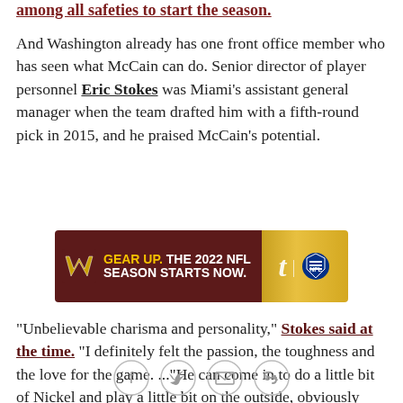among all safeties to start the season.
And Washington already has one front office member who has seen what McCain can do. Senior director of player personnel Eric Stokes was Miami's assistant general manager when the team drafted him with a fifth-round pick in 2015, and he praised McCain's potential.
[Figure (infographic): Washington Commanders advertisement banner: W logo on dark red background, text 'GEAR UP. THE 2022 NFL SEASON STARTS NOW.' with ticketmaster t logo and NFL shield on gold background]
"Unbelievable charisma and personality," Stokes said at the time. "I definitely felt the passion, the toughness and the love for the game. ..."He can come in to do a little bit of Nickel and play a little bit on the outside, obviously give us something on special teams. So, [we're] really excited to have an opportunity to work
[Figure (infographic): Social sharing icons: Facebook, Twitter, email, link/chain]